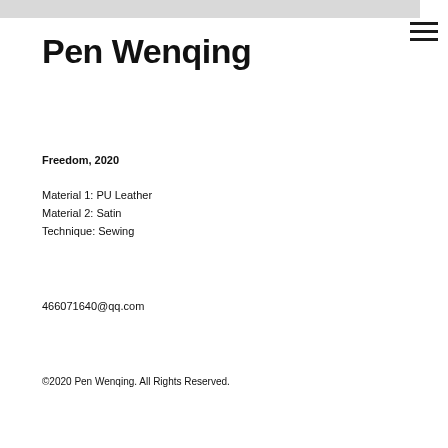Pen Wenqing
Freedom, 2020
Material 1: PU Leather
Material 2: Satin
Technique: Sewing
466071640@qq.com
©2020 Pen Wenqing. All Rights Reserved.